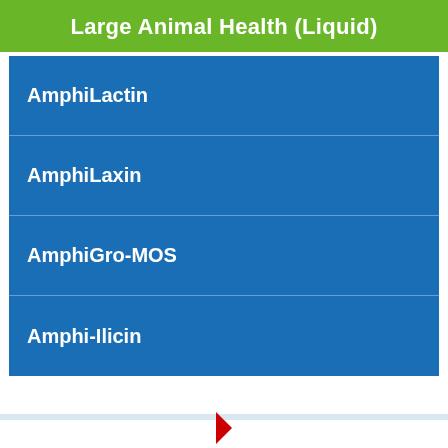Large Animal Health (Liquid)
AmphiLactin
AmphiLaxin
AmphiGro-MOS
Amphi-Ilicin